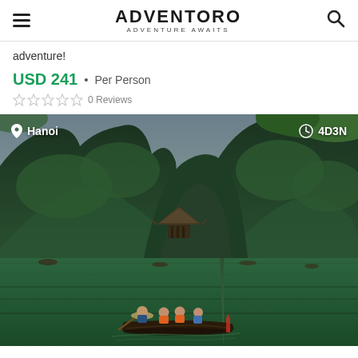ADVENTORO · ADVENTURE AWAITS
adventure!
USD 241 · Per Person
0 Reviews
[Figure (photo): Scenic river landscape in Ninh Binh/Trang An Vietnam with karst limestone mountains covered in lush green jungle, a traditional pagoda structure and wooden rowboat carrying tourists wearing orange life jackets and conical hat. Location: Hanoi. Duration: 4D3N.]